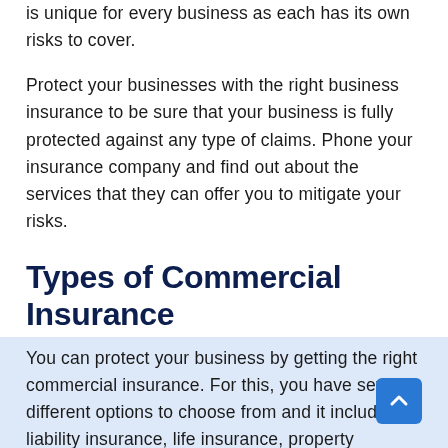is unique for every business as each has its own risks to cover.
Protect your businesses with the right business insurance to be sure that your business is fully protected against any type of claims. Phone your insurance company and find out about the services that they can offer you to mitigate your risks.
Types of Commercial Insurance
You can protect your business by getting the right commercial insurance. For this, you have several different options to choose from and it includes liability insurance, life insurance, property insurance, auto insurance, umbrella policy, and workers compensation insurance.
Business liability insurance will cover legal costs that result from product defects, customer concerns, data breaches